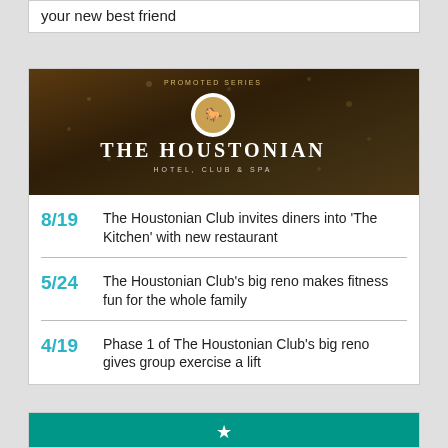your new best friend
[Figure (photo): The Houstonian Hotel, Club & Spa promotional banner with dark wooded background, circular logo, and white serif text reading THE HOUSTONIAN HOTEL, CLUB & SPA. Labeled PROMOTED SERIES at top.]
8/19 The Houstonian Club invites diners into 'The Kitchen' with new restaurant
5/24 The Houstonian Club's big reno makes fitness fun for the whole family
4/19 Phase 1 of The Houstonian Club's big reno gives group exercise a lift
[Figure (illustration): Teal/green banner at bottom of page with white icon]